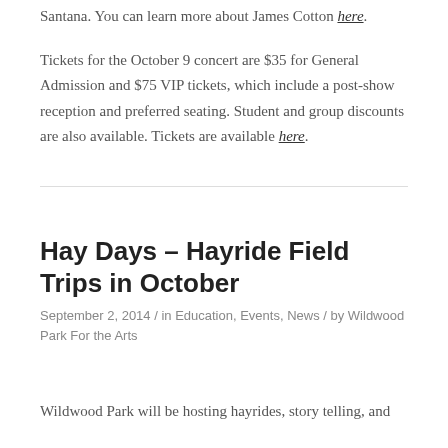Santana. You can learn more about James Cotton here.
Tickets for the October 9 concert are $35 for General Admission and $75 VIP tickets, which include a post-show reception and preferred seating. Student and group discounts are also available. Tickets are available here.
Hay Days – Hayride Field Trips in October
September 2, 2014 / in Education, Events, News / by Wildwood Park For the Arts
Wildwood Park will be hosting hayrides, story telling, and